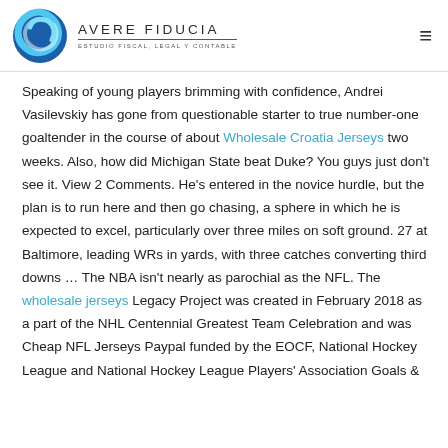AVERE FIDUCIA — ESTUDIO FISCAL, LEGAL Y CONTABLE
Speaking of young players brimming with confidence, Andrei Vasilevskiy has gone from questionable starter to true number-one goaltender in the course of about Wholesale Croatia Jerseys two weeks. Also, how did Michigan State beat Duke? You guys just don't see it. View 2 Comments. He's entered in the novice hurdle, but the plan is to run here and then go chasing, a sphere in which he is expected to excel, particularly over three miles on soft ground. 27 at Baltimore, leading WRs in yards, with three catches converting third downs … The NBA isn't nearly as parochial as the NFL. The wholesale jerseys Legacy Project was created in February 2018 as a part of the NHL Centennial Greatest Team Celebration and was Cheap NFL Jerseys Paypal funded by the EOCF, National Hockey League and National Hockey League Players' Association Goals &